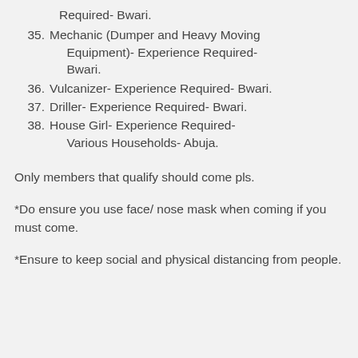Required- Bwari.
35. Mechanic (Dumper and Heavy Moving Equipment)- Experience Required- Bwari.
36. Vulcanizer- Experience Required- Bwari.
37. Driller- Experience Required- Bwari.
38. House Girl- Experience Required- Various Households- Abuja.
Only members that qualify should come pls.
*Do ensure you use face/ nose mask when coming if you must come.
*Ensure to keep social and physical distancing from people.